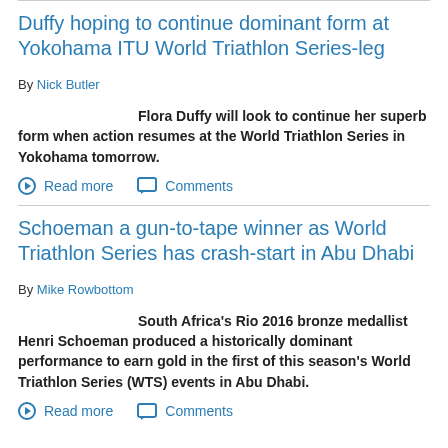Duffy hoping to continue dominant form at Yokohama ITU World Triathlon Series-leg
By Nick Butler
Flora Duffy will look to continue her superb form when action resumes at the World Triathlon Series in Yokohama tomorrow.
Read more   Comments
Schoeman a gun-to-tape winner as World Triathlon Series has crash-start in Abu Dhabi
By Mike Rowbottom
South Africa's Rio 2016 bronze medallist Henri Schoeman produced a historically dominant performance to earn gold in the first of this season's World Triathlon Series (WTS) events in Abu Dhabi.
Read more   Comments